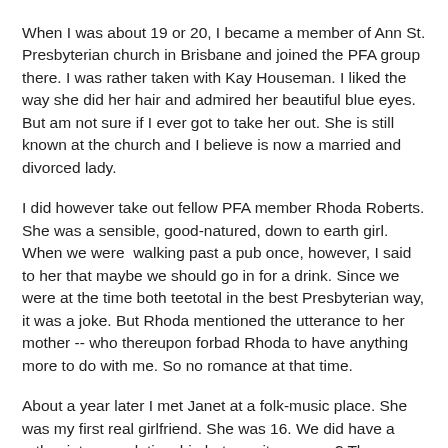When I was about 19 or 20, I became a member of Ann St. Presbyterian church in Brisbane and joined the PFA group there.  I was rather taken with Kay Houseman.  I liked the way she did her hair and admired her beautiful blue eyes.  But am not sure if I ever got to take her out. She is still known at the church and I believe is now a married and divorced lady.
I did however take out fellow PFA member Rhoda Roberts.  She was a sensible, good-natured, down to earth girl.  When we were  walking past a pub once, however, I said to her that maybe we should go in for a drink.  Since we were at the time both teetotal in the best Presbyterian way, it was a joke.  But Rhoda mentioned the utterance to her mother -- who thereupon forbad Rhoda to have anything more to do with me.  So no romance at that time.
About a year later I met Janet at a folk-music place. She was my first real girlfriend.  She was 16. We did have a rather intense relationship but was it romance?  The relationship went on until her parents forbad it so I think it had some